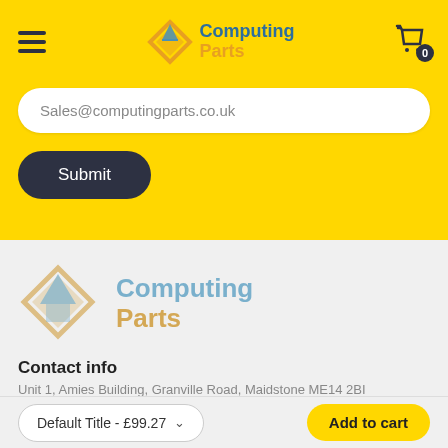[Figure (logo): Computing Parts logo in header - diamond shape with blue and orange colors, text 'Computing Parts' in blue and orange]
Sales@computingparts.co.uk
Submit
[Figure (logo): Computing Parts logo in footer section - larger version, light blue and orange colors on gray background]
Contact info
Unit 1, Amies Building, Granville Road, Maidstone ME14 2BI
Default Title - £99.27
Add to cart